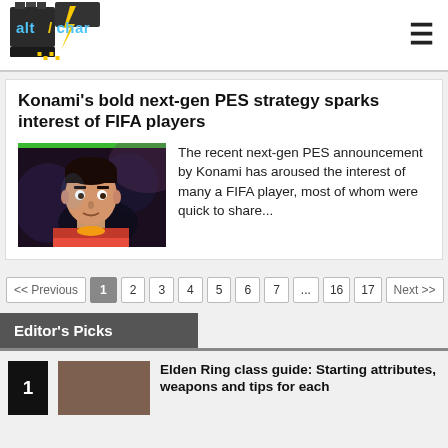[Figure (logo): AltChar logo - pixel art style logo with game controller]
Konami's bold next-gen PES strategy sparks interest of FIFA players
The recent next-gen PES announcement by Konami has aroused the interest of many a FIFA player, most of whom were quick to share...
<< Previous
1
2
3
4
5
6
7
...
16
17
Next >>
Editor's Picks
Elden Ring class guide: Starting attributes, weapons and tips for each